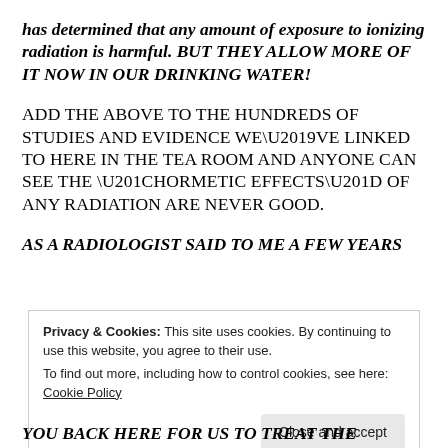has determined that any amount of exposure to ionizing radiation is harmful. BUT THEY ALLOW MORE OF IT NOW IN OUR DRINKING WATER!
ADD THE ABOVE TO THE HUNDREDS OF STUDIES AND EVIDENCE WE'VE LINKED TO HERE IN THE TEA ROOM AND ANYONE CAN SEE THE “HORMETIC EFFECTS” OF ANY RADIATION ARE NEVER GOOD.
AS A RADIOLOGIST SAID TO ME A FEW YEARS
Privacy & Cookies: This site uses cookies. By continuing to use this website, you agree to their use.
To find out more, including how to control cookies, see here: Cookie Policy
YOU BACK HERE FOR US TO TREAT THE